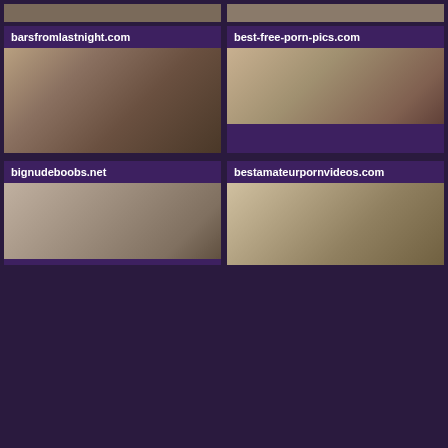[Figure (photo): Partial image cropped at top left]
[Figure (photo): Partial image cropped at top right]
barsfromlastnight.com
[Figure (photo): Photo thumbnail for barsfromlastnight.com]
best-free-porn-pics.com
[Figure (photo): Photo thumbnail for best-free-porn-pics.com]
bestamateurpornvideos.com
[Figure (photo): Photo thumbnail for bestamateurpornvideos.com]
bignudeboobs.net
[Figure (photo): Photo thumbnail for bignudeboobs.net]